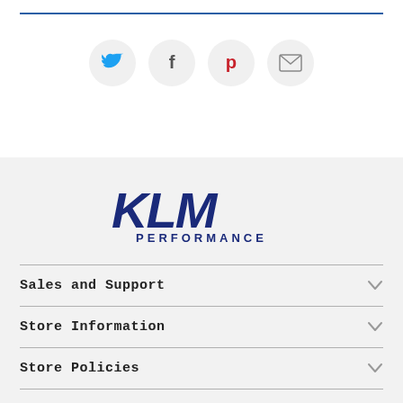[Figure (other): Social share icons: Twitter (blue bird), Facebook (f), Pinterest (p in red), Email (envelope) — each in a light grey circle]
[Figure (logo): KLM Performance logo — bold dark navy italic KLM with PERFORMANCE text beneath in spaced capitals]
Sales and Support
Store Information
Store Policies